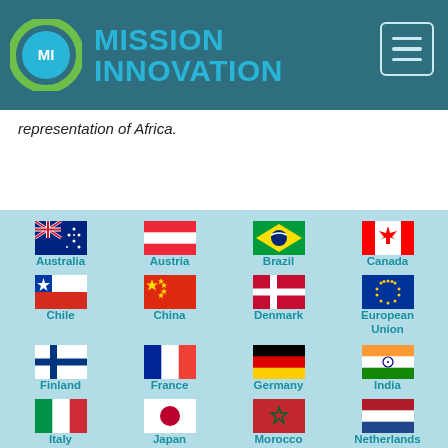MISSION INNOVATION
representation of Africa.
[Figure (infographic): Grid of country flags with labels: Australia, Austria, Brazil, Canada, Chile, China, Denmark, European Union, Finland, France, Germany, India, Italy, Japan, Morocco, Netherlands, and partial row at bottom]